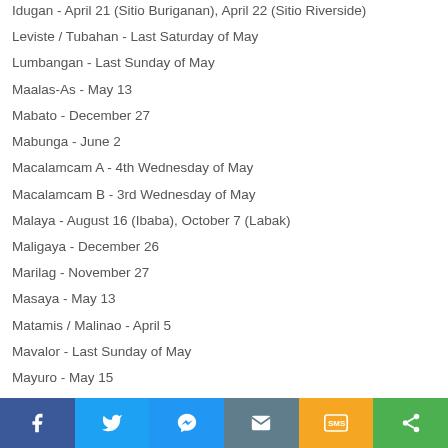Idugan - April 21 (Sitio Buriganan), April 22 (Sitio Riverside)
Leviste / Tubahan - Last Saturday of May
Lumbangan - Last Sunday of May
Maalas-As - May 13
Mabato - December 27
Mabunga - June 2
Macalamcam A - 4th Wednesday of May
Macalamcam B - 3rd Wednesday of May
Malaya - August 16 (Ibaba), October 7 (Labak)
Maligaya - December 26
Marilag - November 27
Masaya - May 13
Matamis / Malinao - April 5
Mavalor - Last Sunday of May
Mayuro - May 15
Namuco - June 2, April 22 (Tubigan/Noble)
Namunga - June 2
Natu - May 31
Nasi - 1st Sunday of May